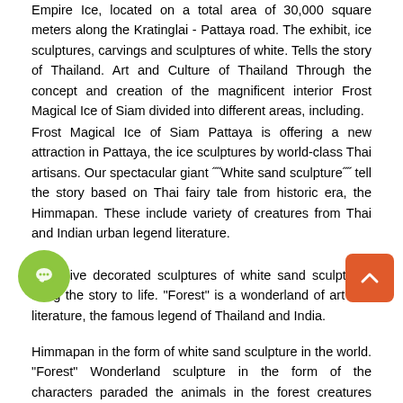Empire Ice, located on a total area of 30,000 square meters along the Kratinglai - Pattaya road. The exhibit, ice sculptures, carvings and sculptures of white. Tells the story of Thailand. Art and Culture of Thailand Through the concept and creation of the magnificent interior Frost Magical Ice of Siam divided into different areas, including.
Frost Magical Ice of Siam Pattaya is offering a new attraction in Pattaya, the ice sculptures by world-class Thai artisans. Our spectacular giant ˝˝White sand sculpture˝˝ tell the story based on Thai fairy tale from historic era, the Himmapan. These include variety of creatures from Thai and Indian urban legend literature.
Exclusive decorated sculptures of white sand sculptures bring the story to life. "Forest" is a wonderland of art and literature, the famous legend of Thailand and India.
Himmapan in the form of white sand sculpture in the world. "Forest" Wonderland sculpture in the form of the characters paraded the animals in the forest creatures beyond imagination, including over 30 of the International...